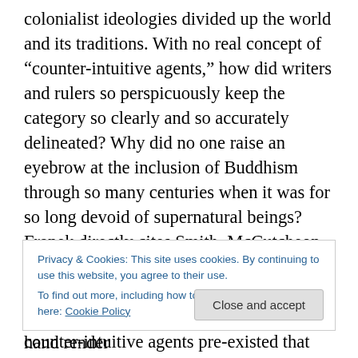colonialist ideologies divided up the world and its traditions. With no real concept of “counter-intuitive agents,” how did writers and rulers so perspicuously keep the category so clearly and so accurately delineated? Why did no one raise an eyebrow at the inclusion of Buddhism through so many centuries when it was for so long devoid of supernatural beings? Franek directly cites Smith, McCutcheon, and Fitzgerald, but overlooks the implications of their description of the origins of “religion” as a category. Yes, counter-intuitive agents pre-existed that development, but they also extend well beyond the
Privacy & Cookies: This site uses cookies. By continuing to use this website, you agree to their use.
To find out more, including how to control cookies, see here: Cookie Policy
found everywhere. Does Smith’s invisible hand render